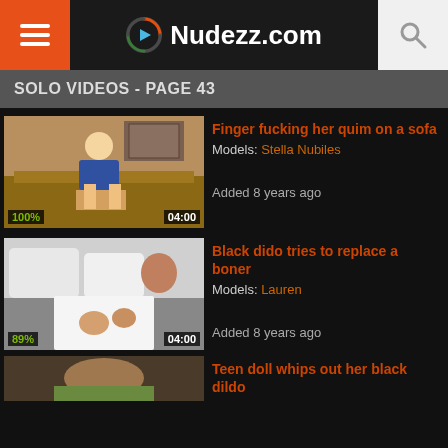Nudezz.com
SOLO VIDEOS - PAGE 43
[Figure (screenshot): Video thumbnail: blonde woman in blue dress on sofa]
Finger fucking her quim on a sofa
Models: Stella Nubiles
Added 8 years ago
[Figure (screenshot): Video thumbnail: brunette woman in white underwear]
Black dido tries to replace a boner
Models: Lauren
Added 8 years ago
Teen doll whips out her black dildo